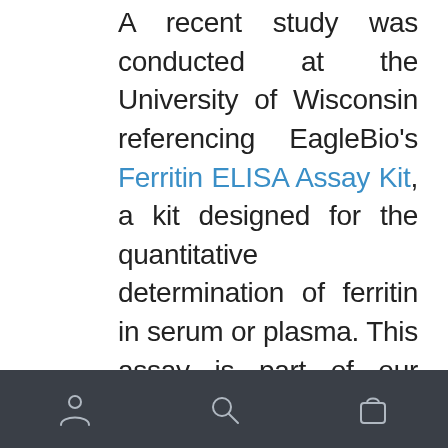A recent study was conducted at the University of Wisconsin referencing EagleBio's Ferritin ELISA Assay Kit, a kit designed for the quantitative determination of ferritin in serum or plasma. This assay is part of our Oxidative Assay Kit Line which is a comprehensive group consisting of a numerous valuable products for assisting scientists in fields of research such as diabetes, cancer, aging and other similar areas of